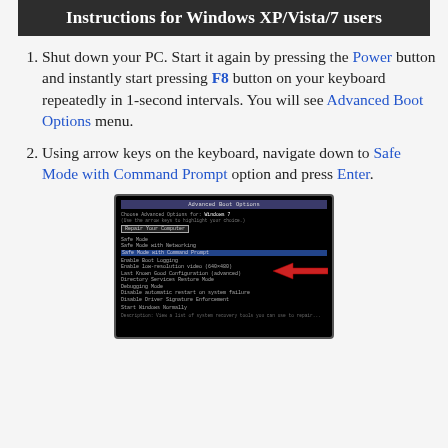Instructions for Windows XP/Vista/7 users
Shut down your PC. Start it again by pressing the Power button and instantly start pressing F8 button on your keyboard repeatedly in 1-second intervals. You will see Advanced Boot Options menu.
Using arrow keys on the keyboard, navigate down to Safe Mode with Command Prompt option and press Enter.
[Figure (screenshot): Screenshot of Windows Advanced Boot Options menu showing Safe Mode with Command Prompt highlighted with a red arrow pointing to it.]